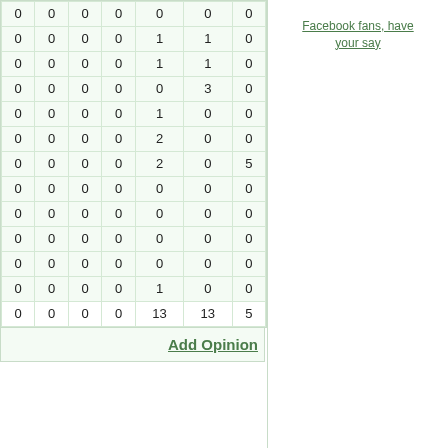| 0 | 0 | 0 | 0 | 0 | 0 | 0 |
| 0 | 0 | 0 | 0 | 1 | 1 | 0 |
| 0 | 0 | 0 | 0 | 1 | 1 | 0 |
| 0 | 0 | 0 | 0 | 0 | 3 | 0 |
| 0 | 0 | 0 | 0 | 1 | 0 | 0 |
| 0 | 0 | 0 | 0 | 2 | 0 | 0 |
| 0 | 0 | 0 | 0 | 2 | 0 | 5 |
| 0 | 0 | 0 | 0 | 0 | 0 | 0 |
| 0 | 0 | 0 | 0 | 0 | 0 | 0 |
| 0 | 0 | 0 | 0 | 0 | 0 | 0 |
| 0 | 0 | 0 | 0 | 0 | 0 | 0 |
| 0 | 0 | 0 | 0 | 1 | 0 | 0 |
| 0 | 0 | 0 | 0 | 13 | 13 | 5 |
Add Opinion
Facebook fans, have your say